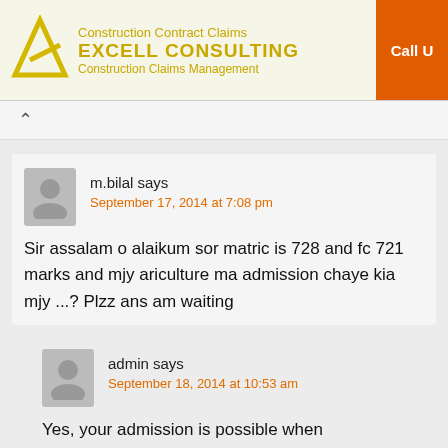[Figure (other): Excell Consulting advertisement banner with logo, text 'Construction Contract Claims', 'EXCELL CONSULTING', 'Construction Claims Management', and an orange 'Call Us' button]
m.bilal says
September 17, 2014 at 7:08 pm

Sir assalam o alaikum sor matric is 728 and fc 721 marks and mjy ariculture ma admission chaye kia mjy ...? Plzz ans am waiting
admin says
September 18, 2014 at 10:53 am

Yes, your admission is possible when